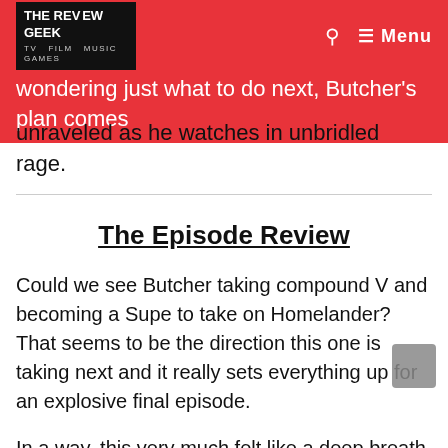THE REVIEW GEEK — TV FILM MUSIC GAMES
wondering just what to do next, Butcher's plan comes unraveled as he watches in unbridled rage.
The Episode Review
Could we see Butcher taking compound V and becoming a Supe to take on Homelander? That seems to be the direction this one is taking next and it really sets everything up for an explosive final episode.
In a way, this very much felt like a deep breath before that aforementioned finale and leaves plenty of questions on the table to be answered. I'd imagine Deep and A-Train are going to come back into the fold